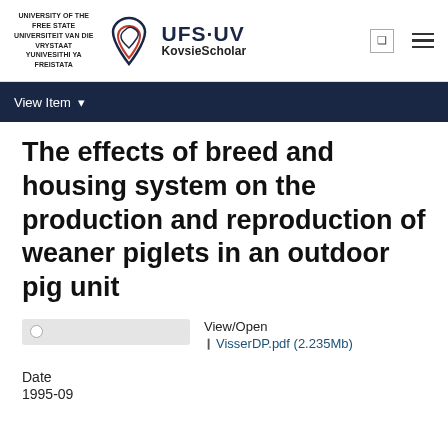[Figure (logo): University of the Free State / UFS·UV KovsieScholar logo with heart-shaped emblem]
View Item
The effects of breed and housing system on the production and reproduction of weaner piglets in an outdoor pig unit
View/Open
❙ VisserDP.pdf (2.235Mb)
Date
1995-09